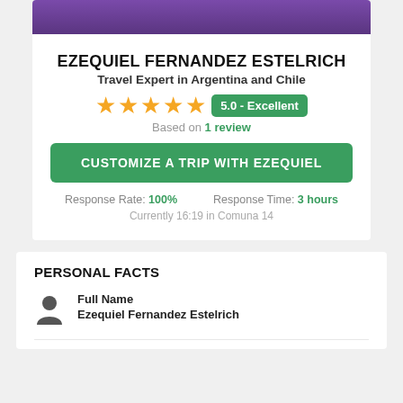[Figure (photo): Partial photo of Ezequiel Fernandez Estelrich at top of profile card]
EZEQUIEL FERNANDEZ ESTELRICH
Travel Expert in Argentina and Chile
★★★★★ 5.0 - Excellent
Based on 1 review
CUSTOMIZE A TRIP WITH EZEQUIEL
Response Rate: 100%   Response Time: 3 hours
Currently 16:19 in Comuna 14
PERSONAL FACTS
Full Name
Ezequiel Fernandez Estelrich